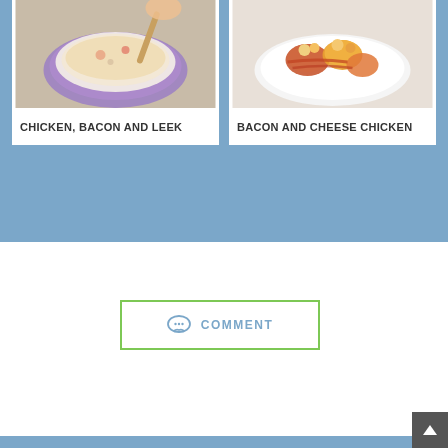[Figure (photo): Chicken, Bacon and Leek recipe card with food photo showing creamy soup/dip in a purple bowl]
CHICKEN, BACON AND LEEK
[Figure (photo): Bacon and Cheese Chicken recipe card with food photo showing wrapped chicken pieces with vegetables]
BACON AND CHEESE CHICKEN
COMMENT
Copyright © 2021 - Tasty-food.net - Best Tasty Food Recipes.
All recipes and pictures were found on the Internet. If you are the author or owner of the recipe or photo and do not want it to be published on the website, let us know and we will definitely remove it.